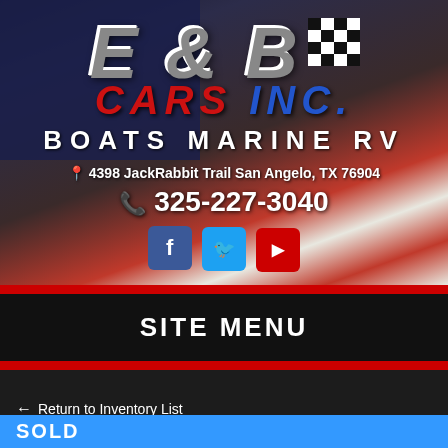[Figure (logo): E & B Cars Inc. Boats Marine RV business logo with American flag background, checkered flag icon, social media buttons for Facebook, Twitter, YouTube]
4398 JackRabbit Trail San Angelo, TX 76904
325-227-3040
SITE MENU
← Return to Inventory List
SOLD